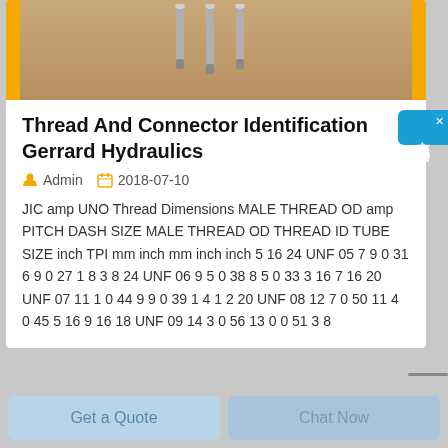[Figure (photo): Product image showing metal screws/connectors on a brown/tan background with yellow side bars]
Thread And Connector Identification Gerrard Hydraulics
Admin  2018-07-10
JIC amp UNO Thread Dimensions MALE THREAD OD amp PITCH DASH SIZE MALE THREAD OD THREAD ID TUBE SIZE inch TPI mm inch mm inch inch 5 16 24 UNF 05 7 9 0 31 6 9 0 27 1 8 3 8 24 UNF 06 9 5 0 38 8 5 0 33 3 16 7 16 20 UNF 07 11 1 0 44 9 9 0 39 1 4 1 2 20 UNF 08 12 7 0 50 11 4 0 45 5 16 9 16 18 UNF 09 14 3 0 56 13 0 0 51 3 8